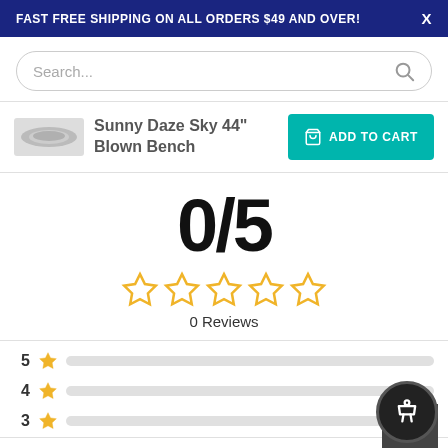FAST FREE SHIPPING ON ALL ORDERS $49 AND OVER!
Search...
Sunny Daze Sky 44" Blown Bench
ADD TO CART
0/5
0 Reviews
5
4
3